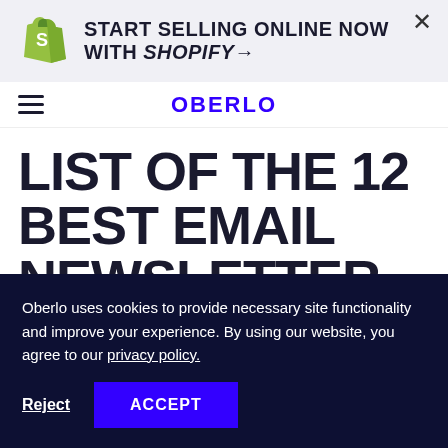[Figure (logo): Shopify bag logo in green with white 'S' letter]
START SELLING ONLINE NOW WITH SHOPIFY→
OBERLO
LIST OF THE 12 BEST EMAIL NEWSLETTER
Oberlo uses cookies to provide necessary site functionality and improve your experience. By using our website, you agree to our privacy policy.
Reject  ACCEPT